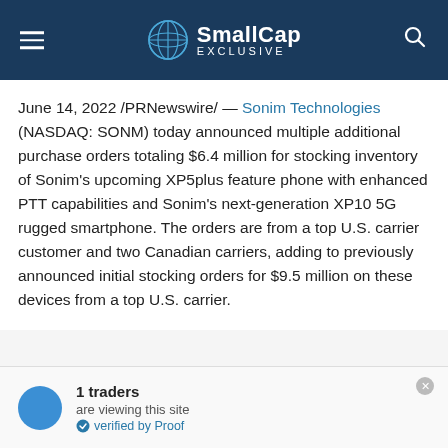SmallCap EXCLUSIVE
June 14, 2022 /PRNewswire/ — Sonim Technologies (NASDAQ: SONM) today announced multiple additional purchase orders totaling $6.4 million for stocking inventory of Sonim's upcoming XP5plus feature phone with enhanced PTT capabilities and Sonim's next-generation XP10 5G rugged smartphone. The orders are from a top U.S. carrier customer and two Canadian carriers, adding to previously announced initial stocking orders for $9.5 million on these devices from a top U.S. carrier.
1 traders are viewing this site verified by Proof